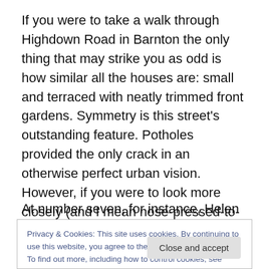If you were to take a walk through Highdown Road in Barnton the only thing that may strike you as odd is how similar all the houses are: small and terraced with neatly trimmed front gardens. Symmetry is this street's outstanding feature. Potholes provided the only crack in an otherwise perfect urban vision. However, if you were to look more closely (and I mean nose-pressed-to-the-window close) you'll find that Highdown Road in Barnton is privy to some peculiar goings-on.
At number seven, for instance, Helen Jacobs was
Privacy & Cookies: This site uses cookies. By continuing to use this website, you agree to their use.
To find out more, including how to control cookies, see here: Cookie Policy
Close and accept